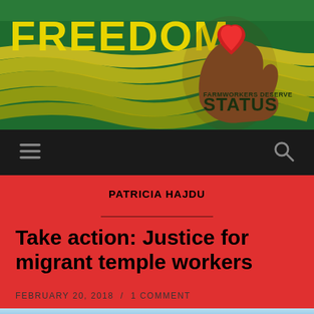[Figure (illustration): Website header banner for a farmworkers rights organization. Green background with stylized yellow crop rows, a fist holding a red heart in the center. Yellow bold text reads FREEDOM on the left. Text on right reads FARMWORKERS DESERVE STATUS in small caps.]
≡  🔍
PATRICIA HAJDU
Take action: Justice for migrant temple workers
FEBRUARY 20, 2018 / 1 COMMENT